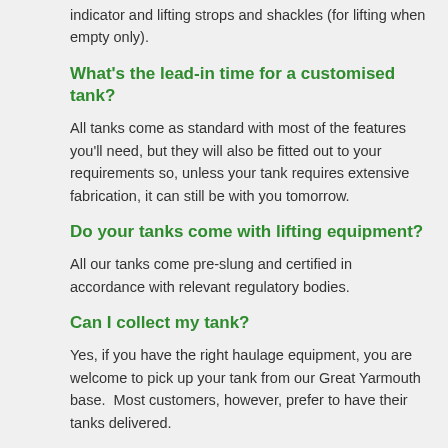indicator and lifting strops and shackles (for lifting when empty only).
What's the lead-in time for a customised tank?
All tanks come as standard with most of the features you'll need, but they will also be fitted out to your requirements so, unless your tank requires extensive fabrication, it can still be with you tomorrow.
Do your tanks come with lifting equipment?
All our tanks come pre-slung and certified in accordance with relevant regulatory bodies.
Can I collect my tank?
Yes, if you have the right haulage equipment, you are welcome to pick up your tank from our Great Yarmouth base.  Most customers, however, prefer to have their tanks delivered.